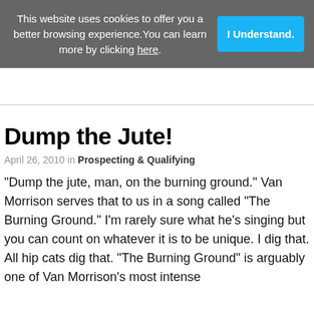This website uses cookies to offer you a better browsing experience.You can learn more by clicking here.
I Understand.
Dump the Jute!
April 26, 2010 in Prospecting & Qualifying
"Dump the jute, man, on the burning ground." Van Morrison serves that to us in a song called "The Burning Ground." I'm rarely sure what he's singing but you can count on whatever it is to be unique. I dig that. All hip cats dig that. "The Burning Ground" is arguable one of Van Morrison's most intense